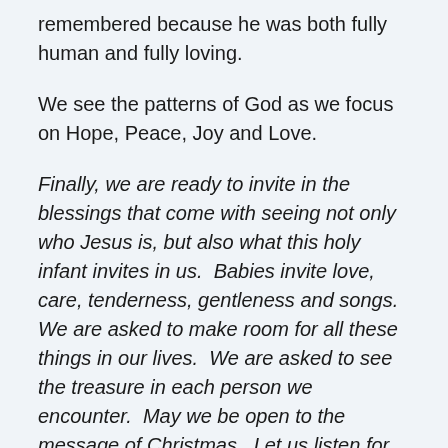remembered because he was both fully human and fully loving.
We see the patterns of God as we focus on Hope, Peace, Joy and Love.
Finally, we are ready to invite in the blessings that come with seeing not only who Jesus is, but also what this holy infant invites in us.  Babies invite love, care, tenderness, gentleness and songs.  We are asked to make room for all these things in our lives.  We are asked to see the treasure in each person we encounter.  May we be open to the message of Christmas.  Let us listen for the angels singing.  Let us travel homeward.  We will find that the door is wide open.  There is always room.